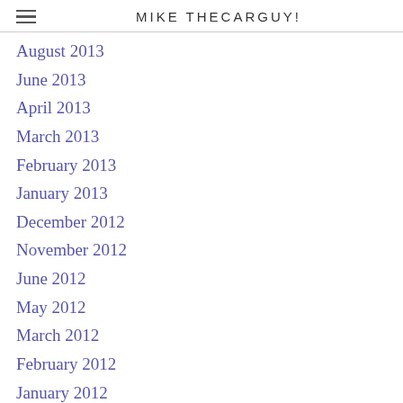MIKE THECARGUY!
August 2013
June 2013
April 2013
March 2013
February 2013
January 2013
December 2012
November 2012
June 2012
May 2012
March 2012
February 2012
January 2012
January 2011
December 2010
November 2010
October 2010
September 2010